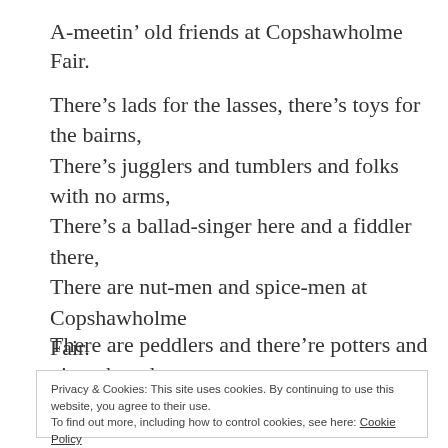A-meetin’ old friends at Copshawholme Fair.
There’s lads for the lasses, there’s toys for the bairns,
There’s jugglers and tumblers and folks with no arms,
There’s a ballad-singer here and a fiddler there,
There are nut-men and spice-men at Copshawholme Fair.
There are peddlers and there’re potters and gingerbread stands,
Privacy & Cookies: This site uses cookies. By continuing to use this website, you agree to their use.
To find out more, including how to control cookies, see here: Cookie Policy
Close and accept